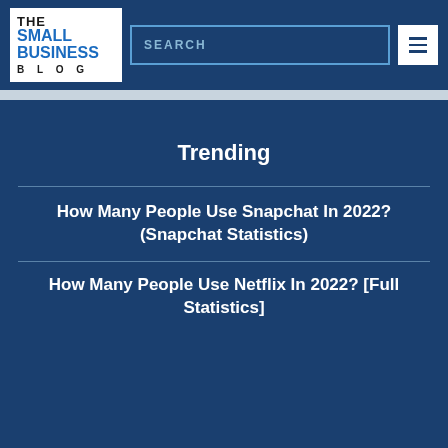THE SMALL BUSINESS BLOG
Trending
How Many People Use Snapchat In 2022? (Snapchat Statistics)
How Many People Use Netflix In 2022? [Full Statistics]